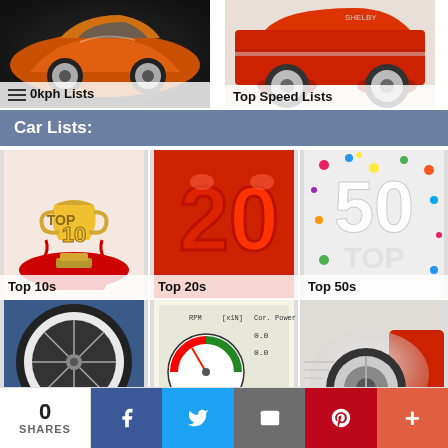[Figure (photo): Orange sports car (McLaren) with silver wheels on dark background]
[Figure (photo): Red classic muscle car side view showing wheel and body]
Car Lists:
[Figure (photo): Golden TOP 10 trophy award with red carpet]
[Figure (photo): Red balloon number 20]
[Figure (photo): White number 50 with confetti on colorful background]
[Figure (photo): Vintage white-walled tire on blue car]
[Figure (photo): RPM and power gauge readout display]
[Figure (photo): Spinning car wheel with smoke during acceleration]
0
SHARES